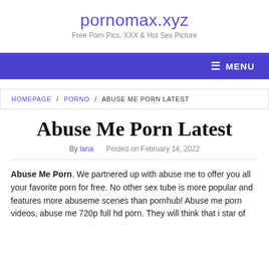pornomax.xyz
Free Porn Pics, XXX & Hot Sex Picture
≡ MENU
HOMEPAGE / PORNO / ABUSE ME PORN LATEST
Abuse Me Porn Latest
By lana   Posted on February 14, 2022
Abuse Me Porn. We partnered up with abuse me to offer you all your favorite porn for free. No other sex tube is more popular and features more abuseme scenes than pornhub! Abuse me porn videos, abuse me 720p full hd porn. They will think that i star of